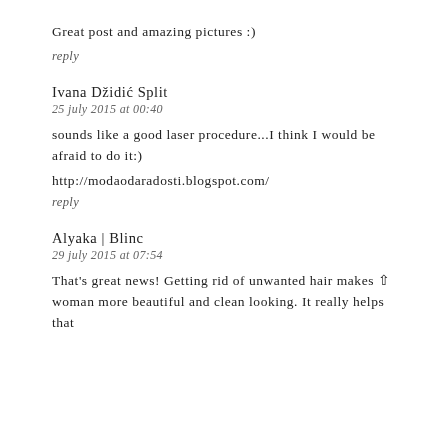Great post and amazing pictures :)
reply
Ivana Džidić Split
25 july 2015 at 00:40
sounds like a good laser procedure...I think I would be afraid to do it:)
http://modaodaradosti.blogspot.com/
reply
Alyaka | Blinc
29 july 2015 at 07:54
That's great news! Getting rid of unwanted hair makes ⇧ woman more beautiful and clean looking. It really helps that